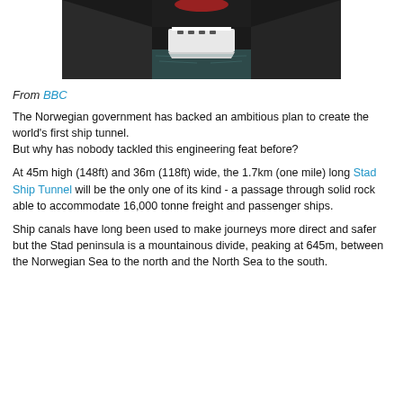[Figure (photo): A ship entering a narrow tunnel passage with water, viewed from the front. The tunnel walls are dark rock and the ship has a red and white hull.]
From BBC
The Norwegian government has backed an ambitious plan to create the world's first ship tunnel.
But why has nobody tackled this engineering feat before?
At 45m high (148ft) and 36m (118ft) wide, the 1.7km (one mile) long Stad Ship Tunnel will be the only one of its kind - a passage through solid rock able to accommodate 16,000 tonne freight and passenger ships.
Ship canals have long been used to make journeys more direct and safer but the Stad peninsula is a mountainous divide, peaking at 645m, between the Norwegian Sea to the north and the North Sea to the south.